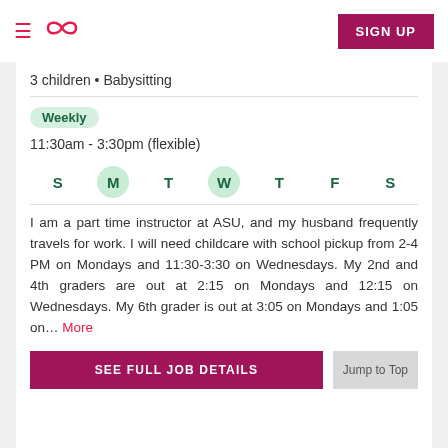≡  ∞  SIGN UP
3 children • Babysitting
Weekly
11:30am - 3:30pm (flexible)
[Figure (infographic): Days of the week row: S, M (highlighted), T, W (highlighted), T, F, S — showing selected schedule days Monday and Wednesday]
I am a part time instructor at ASU, and my husband frequently travels for work. I will need childcare with school pickup from 2-4 PM on Mondays and 11:30-3:30 on Wednesdays. My 2nd and 4th graders are out at 2:15 on Mondays and 12:15 on Wednesdays. My 6th grader is out at 3:05 on Mondays and 1:05 on... More
SEE FULL JOB DETAILS
Jump to Top